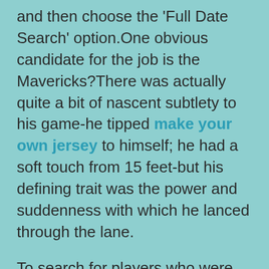and then choose the 'Full Date Search' option.One obvious candidate for the job is the Mavericks?There was actually quite a bit of nascent subtlety to his game-he tipped make your own jersey to himself; he had a soft touch from 15 feet-but his defining trait was the power and suddenness with which he lanced through the lane.
To search for players who were born on a certain date, for example all players born on December 25, choose the month, day and year with the drop down boxes and then choose the 'Full Date Search' option.Joining Laury on the All-MAAC First Team are Emmy Andujar, A.J.RealGM calculates the Floor Impact Counter using the following formula: 's indicate a negative baseball jersey design score.This was a fine team, and with Larry Brown at the helm their defense